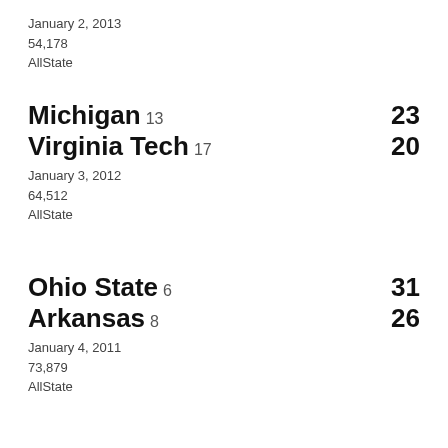January 2, 2013
54,178
AllState
Michigan 13  23
Virginia Tech 17  20
January 3, 2012
64,512
AllState
Ohio State 6  31
Arkansas 8  26
January 4, 2011
73,879
AllState